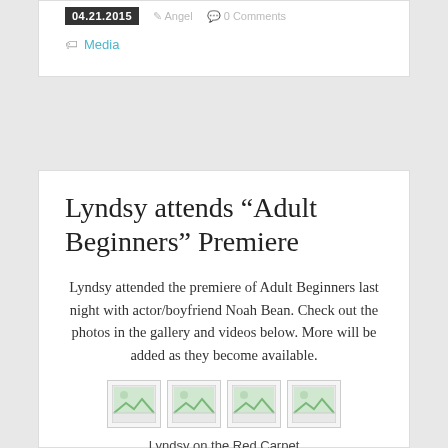04.21.2015  Angel  0 Comments
Media
Lyndsy attends “Adult Beginners” Premiere
Lyndsy attended the premiere of Adult Beginners last night with actor/boyfriend Noah Bean. Check out the photos in the gallery and videos below. More will be added as they become available.
[Figure (photo): Four thumbnail images in a row]
Lyndsy on the Red Carpet
[Figure (screenshot): Black video player area]